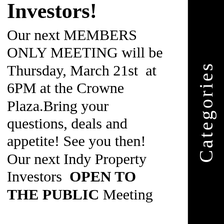Investors!
Our next MEMBERS ONLY MEETING will be Thursday, March 21st at 6PM at the Crowne Plaza.Bring your questions, deals and appetite! See you then! Our next Indy Property Investors OPEN TO THE PUBLIC Meeting
Categories